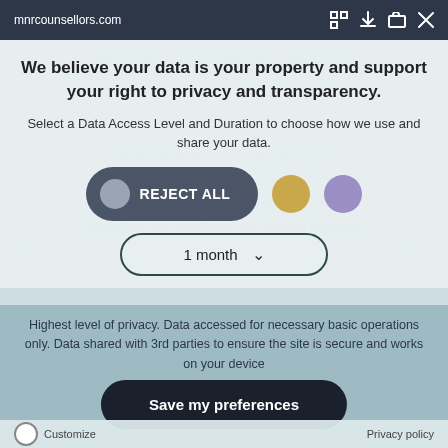mnrcounsellors.com
We believe your data is your property and support your right to privacy and transparency.
Select a Data Access Level and Duration to choose how we use and share your data.
[Figure (screenshot): REJECT ALL button (dark rounded pill with grey toggle circle), gold circle button, purple circle button]
[Figure (screenshot): Dropdown selector showing '1 month' with chevron down icon]
Highest level of privacy. Data accessed for necessary basic operations only. Data shared with 3rd parties to ensure the site is secure and works on your device
[Figure (screenshot): Save my preferences button — dark rounded pill]
Customize   Privacy policy